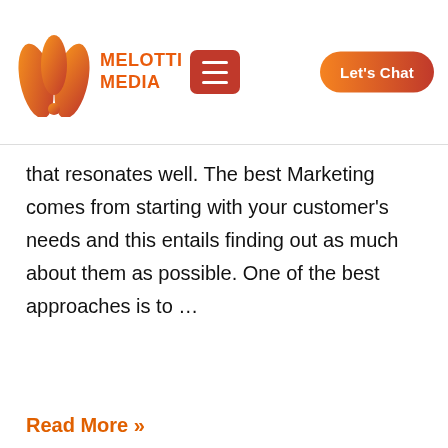Melotti Media — navigation header with logo, hamburger menu, and Let's Chat button
that resonates well. The best Marketing comes from starting with your customer's needs and this entails finding out as much about them as possible. One of the best approaches is to …
Read More »